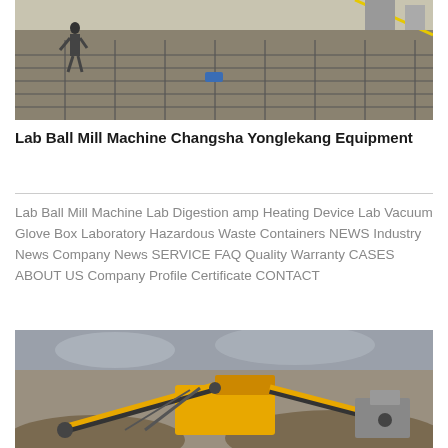[Figure (photo): Construction site showing reinforced concrete rebar grid with a worker standing on it]
Lab Ball Mill Machine Changsha Yonglekang Equipment
Lab Ball Mill Machine Lab Digestion amp Heating Device Lab Vacuum Glove Box Laboratory Hazardous Waste Containers NEWS Industry News Company News SERVICE FAQ Quality Warranty CASES ABOUT US Company Profile Certificate CONTACT
[Figure (photo): Industrial mining/crushing equipment with yellow conveyors and machinery on a construction site under cloudy sky]